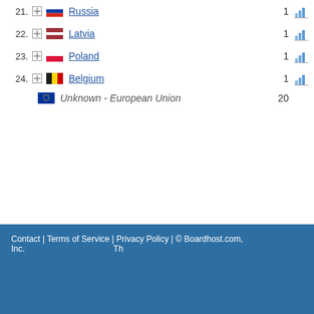21. Russia 1
22. Latvia 1
23. Poland 1
24. Belgium 1
Unknown - European Union 20
Contact | Terms of Service | Privacy Policy | © Boardhost.com, Inc. Th